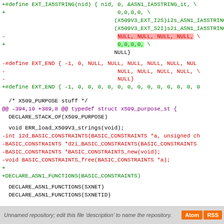[Figure (screenshot): Code diff showing changes to EXT_IA5STRING macro, EXT_END macro, and X509_PURPOSE declarations in a C header file. Green lines are additions, red lines are deletions.]
Unnamed repository; edit this file 'description' to name the repository.